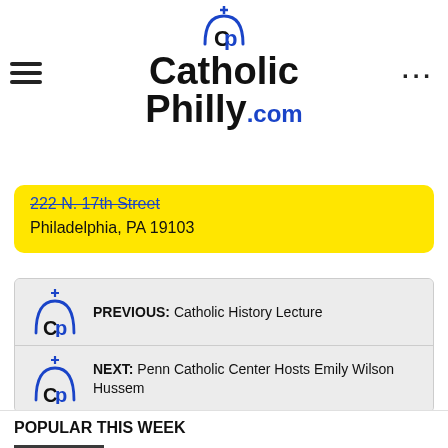CatholicPhilly.com
222 N. 17th Street
Philadelphia, PA 19103
PREVIOUS: Catholic History Lecture
NEXT: Penn Catholic Center Hosts Emily Wilson Hussem
POPULAR THIS WEEK
New seminarians move in, begin life at St. Charles Borromeo